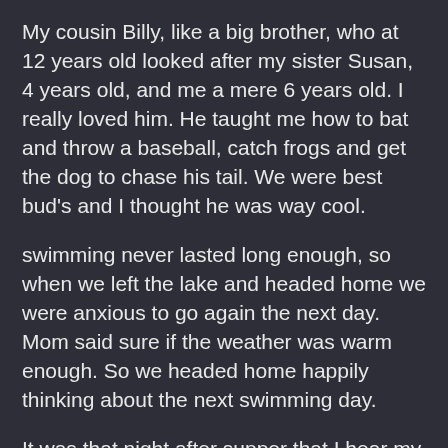My cousin Billy, like a big brother, who at 12 years old looked after my sister Susan, 4 years old, and me a mere 6 years old. I really loved him. He taught me how to bat and throw a baseball, catch frogs and get the dog to chase his tail. We were best bud's and I thought he was way cool.
swimming never lasted long enough, so when we left the lake and headed home we were anxious to go again the next day. Mom said sure if the weather was warm enough. So we headed home happily thinking about the next swimming day.
It was that night after supper that I hear my mom and my Granny talking in the kitchen. Granny was telling Mom that there were 4 new cases of Polio in town. The looks on their faces were concerned and grim. I knew right away that tomorrow might be the last day of swimming for us for quite